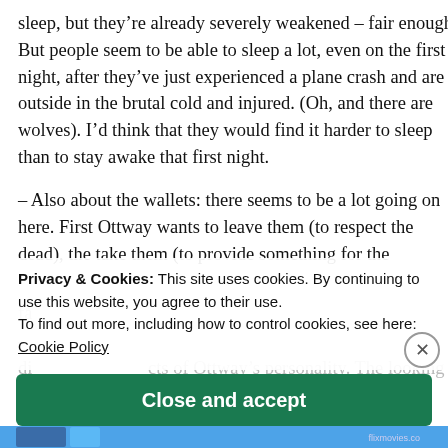sleep, but they're already severely weakened – fair enough. But people seem to be able to sleep a lot, even on the first night, after they've just experienced a plane crash and are outside in the brutal cold and injured. (Oh, and there are wolves). I'd think that they would find it harder to sleep than to stay awake that first night.
– Also about the wallets: there seems to be a lot going on here. First Ottway wants to leave them (to respect the dead), the take them (to provide something for the fa…
Privacy & Cookies: This site uses cookies. By continuing to use this website, you agree to their use.
To find out more, including how to control cookies, see here:
Cookie Policy
…cts of Ottway's personality. The looking…
[Figure (other): Close and accept button (green) and cookie consent overlay banner, with an X close button]